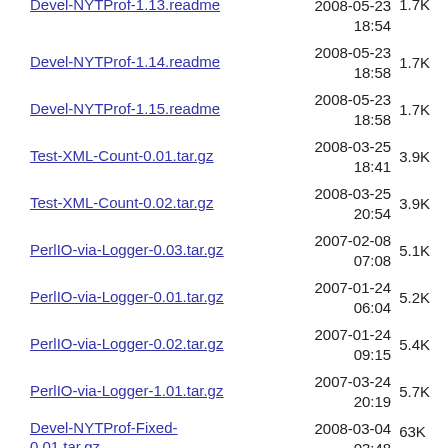Devel-NYTProf-1.13.readme  2008-05-23 18:54  1.7K
Devel-NYTProf-1.14.readme  2008-05-23 18:58  1.7K
Devel-NYTProf-1.15.readme  2008-05-23 18:58  1.7K
Test-XML-Count-0.01.tar.gz  2008-03-25 18:41  3.9K
Test-XML-Count-0.02.tar.gz  2008-03-25 20:54  3.9K
PerlIO-via-Logger-0.03.tar.gz  2007-02-08 07:08  5.1K
PerlIO-via-Logger-0.01.tar.gz  2007-01-24 06:04  5.2K
PerlIO-via-Logger-0.02.tar.gz  2007-01-24 09:15  5.4K
PerlIO-via-Logger-1.01.tar.gz  2007-03-24 20:19  5.7K
Devel-NYTProf-Fixed-0.01.tar.gz  2008-03-04 03:48  63K
devel-nytprof-0.01.tar.gz  2008-03-03 21:34  64K
Devel-NYTProf-0.03.tar.gz  2008-03-06 17:36  64K